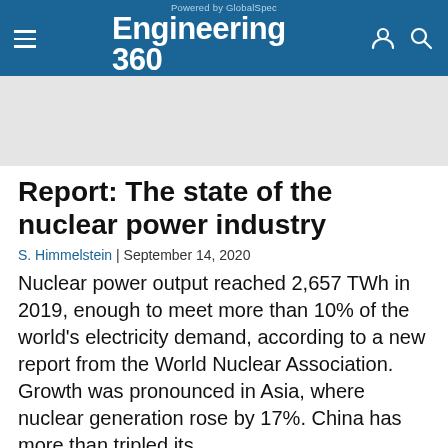Powered by GlobalSpec Engineering 360
[Figure (other): Advertisement banner placeholder (gray rectangle)]
Report: The state of the nuclear power industry
S. Himmelstein | September 14, 2020
Nuclear power output reached 2,657 TWh in 2019, enough to meet more than 10% of the world's electricity demand, according to a new report from the World Nuclear Association. Growth was pronounced in Asia, where nuclear generation rose by 17%. China has more than tripled its